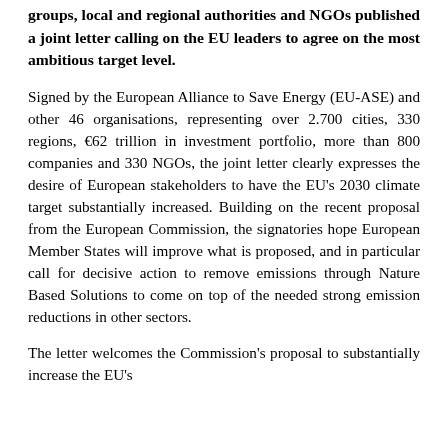groups, local and regional authorities and NGOs published a joint letter calling on the EU leaders to agree on the most ambitious target level.
Signed by the European Alliance to Save Energy (EU-ASE) and other 46 organisations, representing over 2.700 cities, 330 regions, €62 trillion in investment portfolio, more than 800 companies and 330 NGOs, the joint letter clearly expresses the desire of European stakeholders to have the EU's 2030 climate target substantially increased. Building on the recent proposal from the European Commission, the signatories hope European Member States will improve what is proposed, and in particular call for decisive action to remove emissions through Nature Based Solutions to come on top of the needed strong emission reductions in other sectors.
The letter welcomes the Commission's proposal to substantially increase the EU's